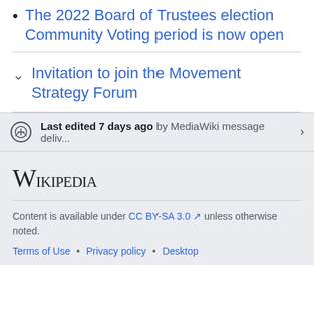The 2022 Board of Trustees election Community Voting period is now open
Invitation to join the Movement Strategy Forum
Last edited 7 days ago by MediaWiki message deliv...
Wikipedia
Content is available under CC BY-SA 3.0 unless otherwise noted.
Terms of Use • Privacy policy • Desktop